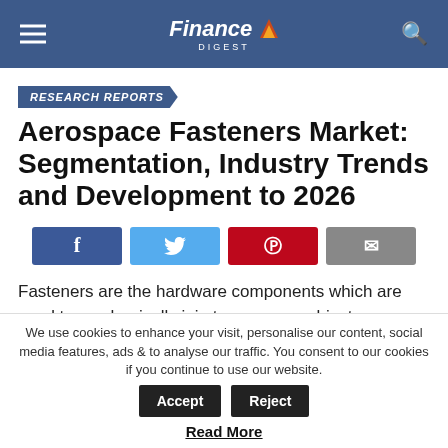Finance Digest
RESEARCH REPORTS
Aerospace Fasteners Market: Segmentation, Industry Trends and Development to 2026
[Figure (infographic): Social share buttons: Facebook, Twitter, Pinterest, Email]
Fasteners are the hardware components which are used to mechanically join two or more objects together. In the same context, aerospace fasteners are special grade
We use cookies to enhance your visit, personalise our content, social media features, ads & to analyse our traffic. You consent to our cookies if you continue to use our website.
Read More